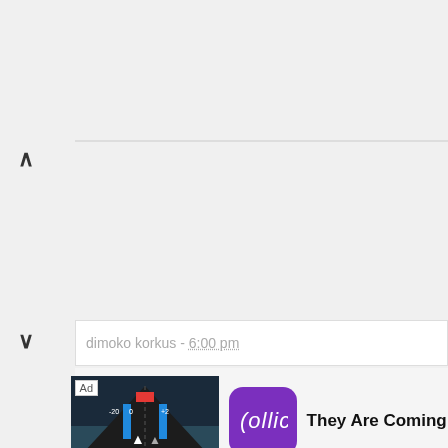^
v
dimoko korkus - 6:00 pm
[Figure (screenshot): Mobile app advertisement showing a game screenshot with 'Hold and Move' text, Rollic logo, 'They Are Coming!' text, and a DOWNLOAD button.]
They Are Coming!
DOWNLOAD